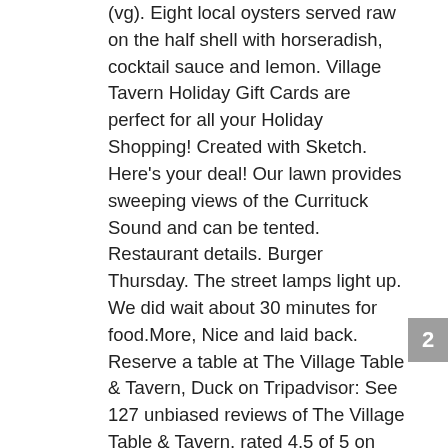(vg). Eight local oysters served raw on the half shell with horseradish, cocktail sauce and lemon. Village Tavern Holiday Gift Cards are perfect for all your Holiday Shopping! Created with Sketch. Here's your deal! Our lawn provides sweeping views of the Currituck Sound and can be tented. Restaurant details. Burger Thursday. The street lamps light up. We did wait about 30 minutes for food.More, Nice and laid back. Reserve a table at The Village Table & Tavern, Duck on Tripadvisor: See 127 unbiased reviews of The Village Table & Tavern, rated 4.5 of 5 on Tripadvisor and ranked #11 of … does not take any reservations. The Village Table & Tavern. Food was excellent. Directions. Food was OK but such lack of good service nd process We were informed informed there is no way to reserve outdoor seatin and outdoor seating is to be first come first served. Starters. Find details on using the Nor'Banks Sailing Center dock here. Overall it was a great place with a great view. left a poor taste. Load More… Hours. Oyster Sunday. For a special occasion or just to break up a day at the beach. The